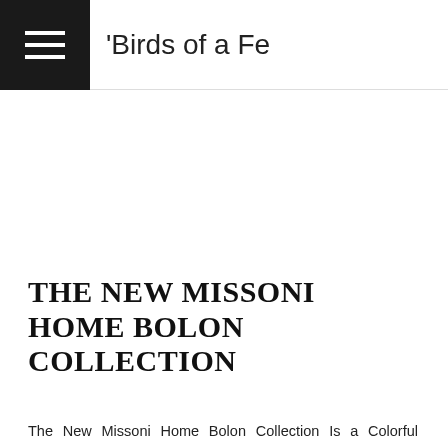'Birds of a Fe
THE NEW MISSONI HOME BOLON COLLECTION
The New Missoni Home Bolon Collection Is a Colorful Explosion For many years, Bolon has enjoyed a fantastic collaboration with acclaimed Italian fashion and design house Missoni. This September, a new Missoni Home collection has launched, furthering the design house's identity on Bolon Flooring....